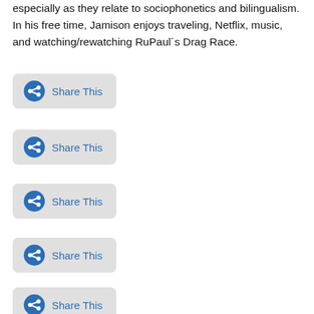especially as they relate to sociophonetics and bilingualism. In his free time, Jamison enjoys traveling, Netflix, music, and watching/rewatching RuPaul's Drag Race.
[Figure (other): Share This button 1 - blue circle share icon with text 'Share This' on grey rounded rectangle background]
[Figure (other): Share This button 2 - blue circle share icon with text 'Share This' on grey rounded rectangle background]
[Figure (other): Share This button 3 - blue circle share icon with text 'Share This' on grey rounded rectangle background]
[Figure (other): Share This button 4 - blue circle share icon with text 'Share This' on grey rounded rectangle background]
[Figure (other): Share This button 5 - blue circle share icon with text 'Share This' on grey rounded rectangle background]